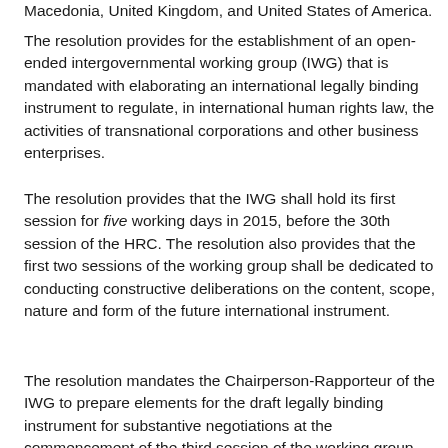Macedonia, United Kingdom, and United States of America.
The resolution provides for the establishment of an open-ended intergovernmental working group (IWG) that is mandated with elaborating an international legally binding instrument to regulate, in international human rights law, the activities of transnational corporations and other business enterprises.
The resolution provides that the IWG shall hold its first session for five working days in 2015, before the 30th session of the HRC. The resolution also provides that the first two sessions of the working group shall be dedicated to conducting constructive deliberations on the content, scope, nature and form of the future international instrument.
The resolution mandates the Chairperson-Rapporteur of the IWG to prepare elements for the draft legally binding instrument for substantive negotiations at the commencement of the third session of the working group, taking into consideration the discussions held at its first two sessions. It recommends that the first meeting of the IWG serve to collect inputs, including written inputs, from States and